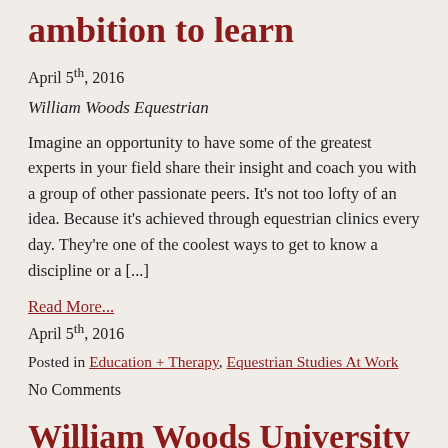ambition to learn
April 5th, 2016
William Woods Equestrian
Imagine an opportunity to have some of the greatest experts in your field share their insight and coach you with a group of other passionate peers. It's not too lofty of an idea. Because it's achieved through equestrian clinics every day. They're one of the coolest ways to get to know a discipline or a [...]
Read More...
April 5th, 2016
Posted in Education + Therapy, Equestrian Studies At Work
No Comments
William Woods University